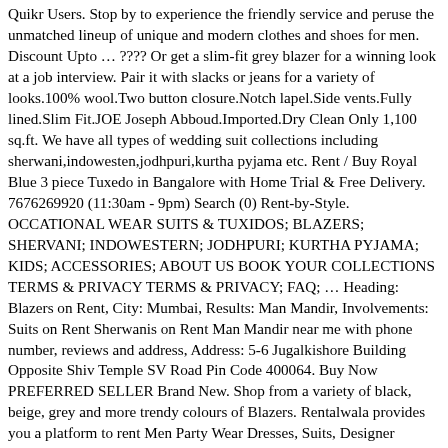Quikr Users. Stop by to experience the friendly service and peruse the unmatched lineup of unique and modern clothes and shoes for men. Discount Upto … ???? Or get a slim-fit grey blazer for a winning look at a job interview. Pair it with slacks or jeans for a variety of looks.100% wool.Two button closure.Notch lapel.Side vents.Fully lined.Slim Fit.JOE Joseph Abboud.Imported.Dry Clean Only 1,100 sq.ft. We have all types of wedding suit collections including sherwani,indowesten,jodhpuri,kurtha pyjama etc. Rent / Buy Royal Blue 3 piece Tuxedo in Bangalore with Home Trial & Free Delivery. 7676269920 (11:30am - 9pm) Search (0) Rent-by-Style. OCCATIONAL WEAR SUITS & TUXIDOS; BLAZERS; SHERVANI; INDOWESTERN; JODHPURI; KURTHA PYJAMA; KIDS; ACCESSORIES; ABOUT US BOOK YOUR COLLECTIONS TERMS & PRIVACY TERMS & PRIVACY; FAQ; … Heading: Blazers on Rent, City: Mumbai, Results: Man Mandir, Involvements: Suits on Rent Sherwanis on Rent Man Mandir near me with phone number, reviews and address, Address: 5-6 Jugalkishore Building Opposite Shiv Temple SV Road Pin Code 400064. Buy Now PREFERRED SELLER Brand New. Shop from a variety of black, beige, grey and more trendy colours of Blazers. Rentalwala provides you a platform to rent Men Party Wear Dresses, Suits, Designer Wedding Blazers in India. From Bridal lehengas to party wears, designer lehengas to gowns; and blazers to many other modish outfits, our collections cover your smallest AND your largest fashion demands without burning a hole through your pockets. One of the great place, thanks for making my marriage more attractive and beautiful. 2 BHK. Single Breasted Blazer - The best part about a single-breasted blazer is that you can even wear it with jeans and a formal shirt for that semi-formal look, like a double-breasted blazer does.